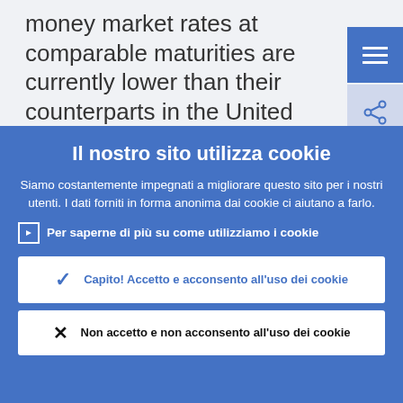money market rates at comparable maturities are currently lower than their counterparts in the United States at six-month and twelve-month maturities, but also to our full allotment
Il nostro sito utilizza cookie
Siamo costantemente impegnati a migliorare questo sito per i nostri utenti. I dati forniti in forma anonima dai cookie ci aiutano a farlo.
Per saperne di più su come utilizziamo i cookie
Capito! Accetto e acconsento all'uso dei cookie
Non accetto e non acconsento all'uso dei cookie